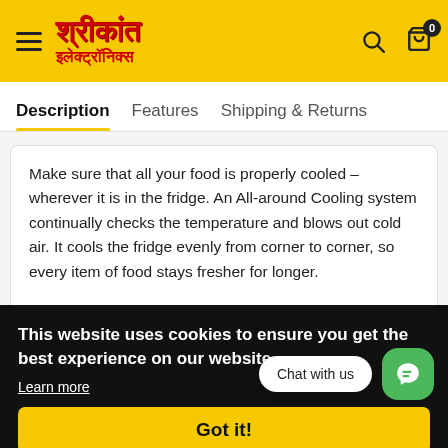Shrikant Electronics (logo with Hindi text: श्रीकांत इलेक्ट्रॉनिक्स)
Description   Features   Shipping & Returns
Make sure that all your food is properly cooled – wherever it is in the fridge. An All-around Cooling system continually checks the temperature and blows out cold air. It cools the fridge evenly from corner to corner, so every item of food stays fresher for longer. Sa... lo... ca... au... de...
This website uses cookies to ensure you get the best experience on our website.
Learn more
Got it!